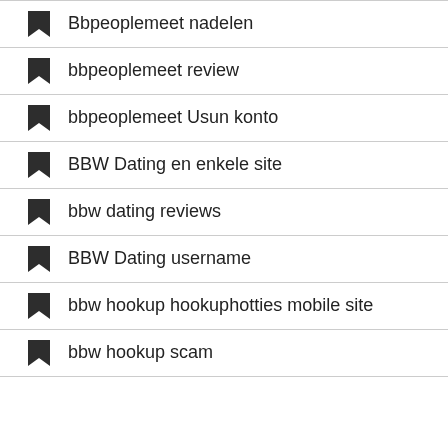Bbpeoplemeet nadelen
bbpeoplemeet review
bbpeoplemeet Usun konto
BBW Dating en enkele site
bbw dating reviews
BBW Dating username
bbw hookup hookuphotties mobile site
bbw hookup scam